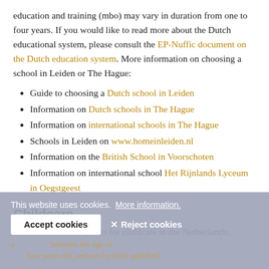education and training (mbo) may vary in duration from one to four years. If you would like to read more about the Dutch educational system, please consult the EP-Nuffic document on the Dutch education system. More information on choosing a school in Leiden or The Hague:
Guide to choosing a Dutch school in Leiden
Information on Dutch schools in The Hague
Information on international schools in The Hague
Schools in Leiden on www.homeinleiden.nl
Information on the British School in Voorschoten
Information on international school Het Rijnlands Lyceum in Oegstgeest
Childcare
There are several options for childcare in the Netherlands:
This website uses cookies. More information. Accept cookies  ✕ Reject cookies